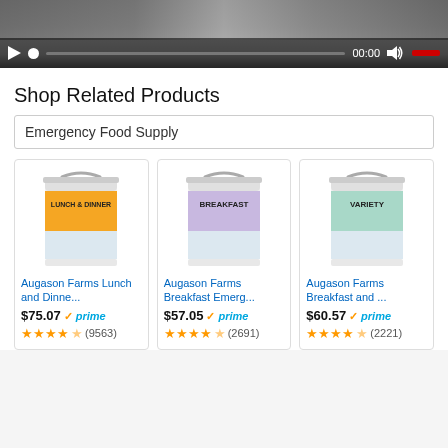[Figure (screenshot): Video player bar with play button, progress bar at 00:00, and volume control with red indicator]
Shop Related Products
Emergency Food Supply
[Figure (photo): Augason Farms Lunch and Dinner emergency food supply bucket]
Augason Farms Lunch and Dine...
$75.07 prime (9563)
[Figure (photo): Augason Farms Breakfast emergency food supply bucket]
Augason Farms Breakfast Emerg...
$57.05 prime (2691)
[Figure (photo): Augason Farms Breakfast and Variety emergency food supply bucket]
Augason Farms Breakfast and ...
$60.57 prime (2221)